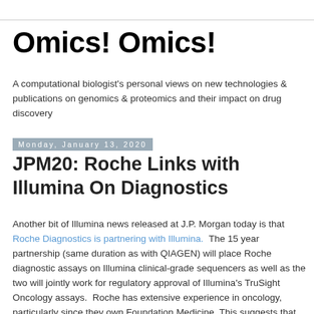Omics! Omics!
A computational biologist's personal views on new technologies & publications on genomics & proteomics and their impact on drug discovery
Monday, January 13, 2020
JPM20: Roche Links with Illumina On Diagnostics
Another bit of Illumina news released at J.P. Morgan today is that Roche Diagnostics is partnering with Illumina.  The 15 year partnership (same duration as with QIAGEN) will place Roche diagnostic assays on Illumina clinical-grade sequencers as well as the two will jointly work for regulatory approval of Illumina's TruSight Oncology assays.  Roche has extensive experience in oncology, particularly since they own Foundation Medicine. This suggests that Roche is happy with...